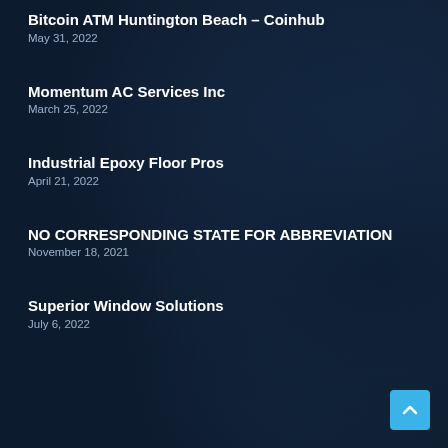Bitcoin ATM Huntington Beach – Coinhub
May 31, 2022
Momentum AC Services Inc
March 25, 2022
Industrial Epoxy Floor Pros
April 21, 2022
NO CORRESPONDING STATE FOR ABBREVIATION
November 18, 2021
Superior Window Solutions
July 6, 2022